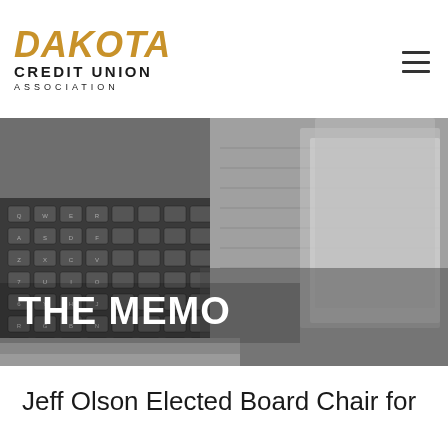DAKOTA CREDIT UNION ASSOCIATION
[Figure (photo): Black and white photo of a stack of newspapers on a laptop keyboard, with the text 'THE MEMO' overlaid in white bold text]
Jeff Olson Elected Board Chair for